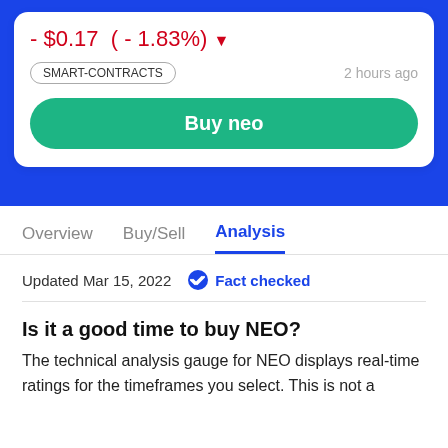- $0.17 ( - 1.83%) ▼
SMART-CONTRACTS
2 hours ago
Buy neo
Overview   Buy/Sell   Analysis
Updated Mar 15, 2022   ✔ Fact checked
Is it a good time to buy NEO?
The technical analysis gauge for NEO displays real-time ratings for the timeframes you select. This is not a